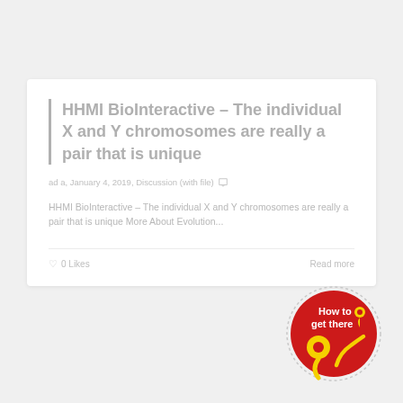HHMI BioInteractive – The individual X and Y chromosomes are really a pair that is unique
ad a, January 4, 2019, Discussion (with file)
HHMI BioInteractive – The individual X and Y chromosomes are really a pair that is unique More About Evolution...
0 Likes
Read more
[Figure (logo): Round red badge with text 'How to get there' in white, a yellow map pin icon, and a yellow stylized path/road icon on red background with dotted border.]